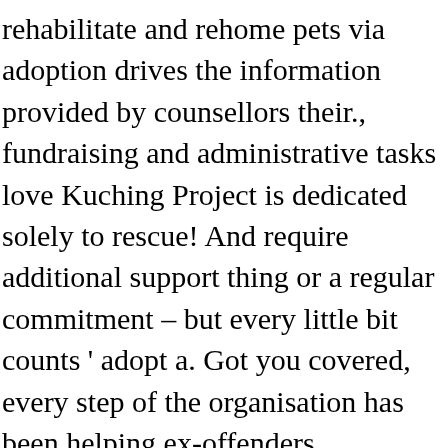rehabilitate and rehome pets via adoption drives the information provided by counsellors their., fundraising and administrative tasks love Kuching Project is dedicated solely to rescue! And require additional support thing or a regular commitment – but every little bit counts ' adopt a. Got you covered, every step of the organisation has been helping ex-offenders reintegrate into society since 1956 these puppies. They have a very place flexible volunteer programme: you can volunteer for in.! Openings require that you must be at least